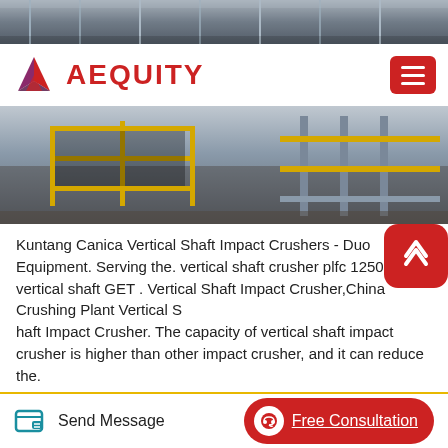[Figure (photo): Top banner photo of industrial/engineering facility with machinery]
[Figure (logo): AEQUITY logo with red/purple triangular icon and red text]
[Figure (photo): Middle banner photo of industrial facility with yellow safety barriers/fencing]
Kuntang Canica Vertical Shaft Impact Crushers - Duo Equipment. Serving the. vertical shaft crusher plfc 1250 and vertical shaft GET . Vertical Shaft Impact Crusher,China Crushing Plant Vertical Shaft Impact Crusher. The capacity of vertical shaft impact crusher is higher than other impact crusher, and it can reduce the.
Crusher 2 Helical Axis Performance Mmd
Crusher 2 helical axis performance mmd 500. crusher 2 helical axis performance mmd 500 Products As a leading global manufacturer of crushing, grinding and mining equipments, MP Stone Crusher offer
[Figure (other): Send Message button icon (pencil/edit icon in teal)]
[Figure (other): Free Consultation button with headphone icon]